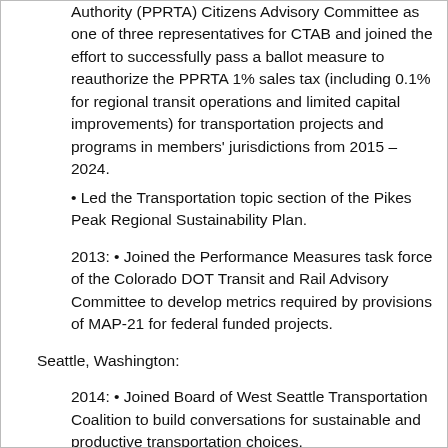Authority (PPRTA) Citizens Advisory Committee as one of three representatives for CTAB and joined the effort to successfully pass a ballot measure to reauthorize the PPRTA 1% sales tax (including 0.1% for regional transit operations and limited capital improvements) for transportation projects and programs in members' jurisdictions from 2015 – 2024.
• Led the Transportation topic section of the Pikes Peak Regional Sustainability Plan.
2013: • Joined the Performance Measures task force of the Colorado DOT Transit and Rail Advisory Committee to develop metrics required by provisions of MAP-21 for federal funded projects.
Seattle, Washington:
2014: • Joined Board of West Seattle Transportation Coalition to build conversations for sustainable and productive transportation choices.